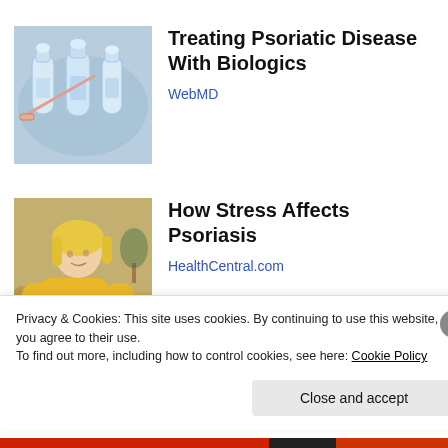[Figure (photo): Photo of medical vials and syringes on blue background]
Treating Psoriatic Disease With Biologics
WebMD
[Figure (photo): Photo of blonde woman in yellow sweater scratching her arm, with psoriasis]
How Stress Affects Psoriasis
HealthCentral.com
Privacy & Cookies: This site uses cookies. By continuing to use this website, you agree to their use.
To find out more, including how to control cookies, see here: Cookie Policy